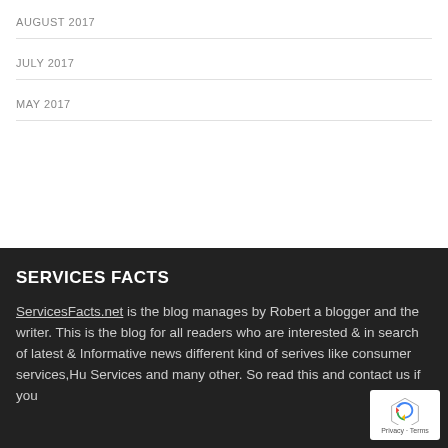AUGUST 2017
JULY 2017
MAY 2017
SERVICES FACTS
ServicesFacts.net is the blog manages by Robert a blogger and the writer. This is the blog for all readers who are interested & in search of latest & Informative news different kind of serives like consumer services,Hu Services and many other. So read this and contact us if you